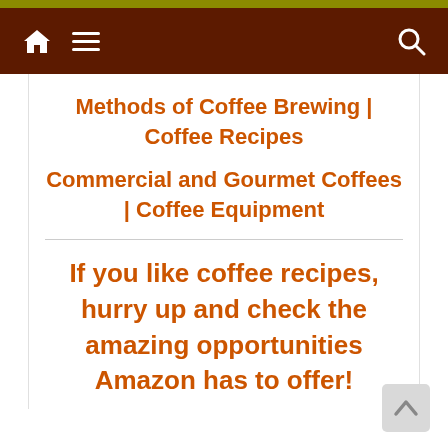Methods of Coffee Brewing | Coffee Recipes
Commercial and Gourmet Coffees | Coffee Equipment
If you like coffee recipes, hurry up and check the amazing opportunities Amazon has to offer!